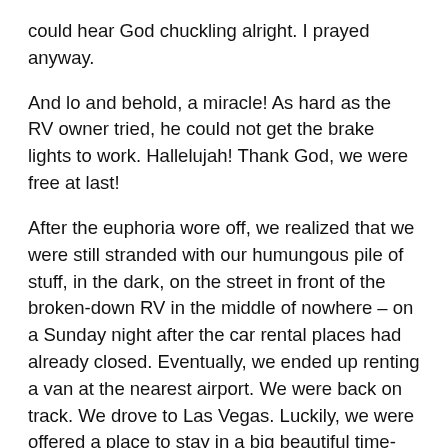could hear God chuckling alright. I prayed anyway.
And lo and behold, a miracle! As hard as the RV owner tried, he could not get the brake lights to work. Hallelujah! Thank God, we were free at last!
After the euphoria wore off, we realized that we were still stranded with our humungous pile of stuff, in the dark, on the street in front of the broken-down RV in the middle of nowhere – on a Sunday night after the car rental places had already closed. Eventually, we ended up renting a van at the nearest airport. We were back on track. We drove to Las Vegas. Luckily, we were offered a place to stay in a big beautiful time-share house of a dear friend who was not there that week. The new plan – stay the night, call a real RV rental establishment to [bubble] big, fully loaded, late-model RV. The calls w[bubble]; the reservation was booked for the next morning. And God chuckled more.